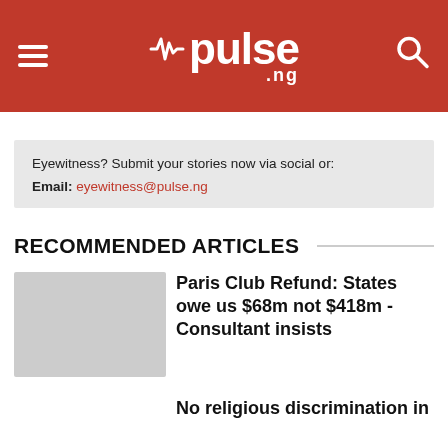pulse.ng
Eyewitness? Submit your stories now via social or: Email: eyewitness@pulse.ng
RECOMMENDED ARTICLES
Paris Club Refund: States owe us $68m not $418m - Consultant insists
No religious discrimination in